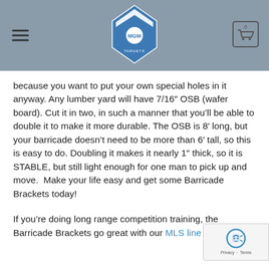MGM Targets navigation header with hamburger menu and cart icon
because you want to put your own special holes in it anyway. Any lumber yard will have 7/16″ OSB (wafer board). Cut it in two, in such a manner that you’ll be able to double it to make it more durable. The OSB is 8′ long, but your barricade doesn’t need to be more than 6′ tall, so this is easy to do. Doubling it makes it nearly 1″ thick, so it is STABLE, but still light enough for one man to pick up and move.  Make your life easy and get some Barricade Brackets today!
If you’re doing long range competition training, the Barricade Brackets go great with our MLS line targets.